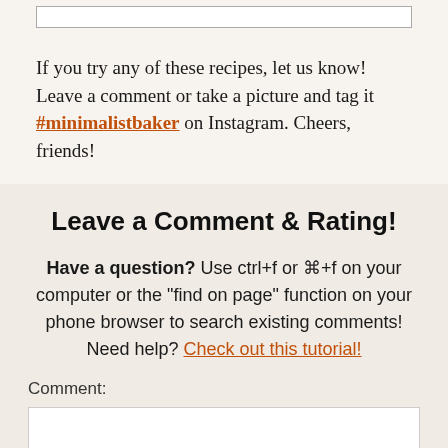If you try any of these recipes, let us know! Leave a comment or take a picture and tag it #minimalistbaker on Instagram. Cheers, friends!
Leave a Comment & Rating!
Have a question? Use ctrl+f or ⌘+f on your computer or the "find on page" function on your phone browser to search existing comments! Need help? Check out this tutorial!
Comment: